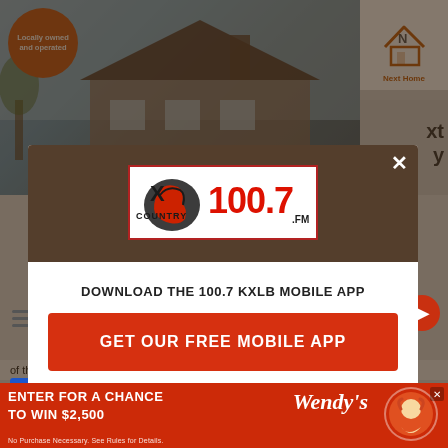[Figure (screenshot): Webpage background showing a house photo with brownish overlay, orange 'Locally owned and operated' badge, NL logo top right, and partial page content]
[Figure (logo): X Country 100.7 FM radio station logo in modal dialog popup]
DOWNLOAD THE 100.7 KXLB MOBILE APP
GET OUR FREE MOBILE APP
Also listen on:  amazon alexa
of the Services following the posting of any amendment
[Figure (infographic): Wendy's advertisement banner at the bottom: ENTER FOR A CHANCE TO WIN $2,500 with Wendy's logo and disclaimer text]